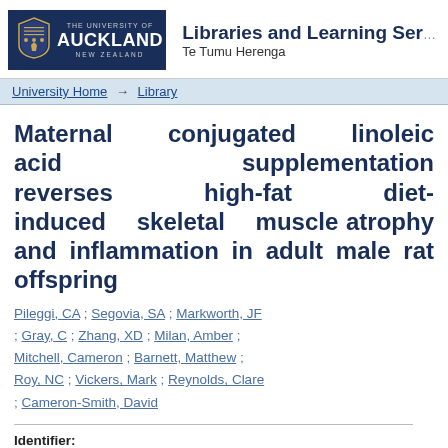[Figure (logo): University of Auckland Libraries and Learning Services logo with shield emblem and text 'THE UNIVERSITY OF AUCKLAND NEW ZEALAND' on dark blue background, followed by 'Libraries and Learning Services Te Tumu Herenga']
University Home → Library
Maternal conjugated linoleic acid supplementation reverses high-fat diet-induced skeletal muscle atrophy and inflammation in adult male rat offspring
Pileggi, CA ; Segovia, SA ; Markworth, JF ; Gray, C ; Zhang, XD ; Milan, Amber ; Mitchell, Cameron ; Barnett, Matthew ; Roy, NC ; Vickers, Mark ; Reynolds, Clare ; Cameron-Smith, David
Identifier:
http://hdl.handle.net/2292/30261